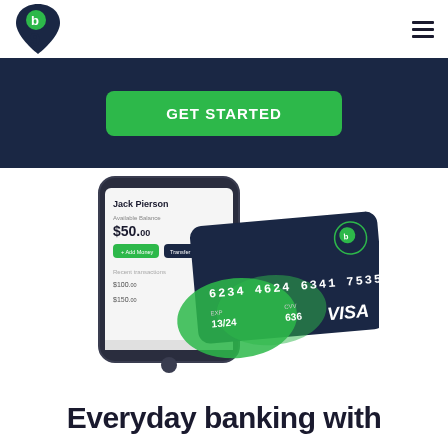[Figure (logo): b9 brand logo — dark teardrop/pin shape with green circle containing 'b' and a bold '9', in navy/dark blue]
[Figure (other): Dark navy banner background with a green rounded-rectangle CTA button showing partially visible text 'GET STARTED']
[Figure (photo): Mobile phone displaying a banking app screen (Jack Pierson, $50.00 balance) next to a green and dark Visa debit card showing number 6234 4624 6341 7535, expiry 13/24, CVV 636]
Everyday banking with